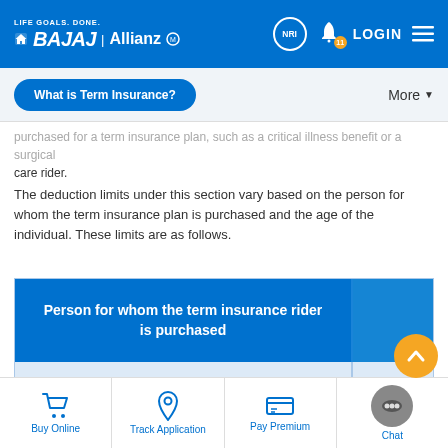[Figure (screenshot): Bajaj Allianz Life Goals Done header with NRI, bell notification (11), LOGIN and hamburger menu icons on blue background]
What is Term Insurance?   More
purchased for a term insurance plan, such as a critical illness benefit or a surgical care rider.
The deduction limits under this section vary based on the person for whom the term insurance plan is purchased and the age of the individual. These limits are as follows.
| Person for whom the term insurance rider is purchased |  |
| --- | --- |
| Self, spouse or children |  |
Buy Online   Track Application   Pay Premium   Chat